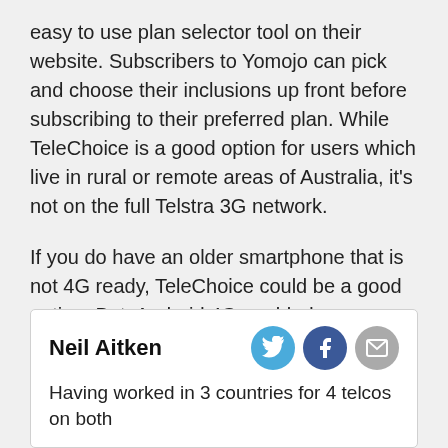easy to use plan selector tool on their website. Subscribers to Yomojo can pick and choose their inclusions up front before subscribing to their preferred plan. While TeleChoice is a good option for users which live in rural or remote areas of Australia, it's not on the full Telstra 3G network.
If you do have an older smartphone that is not 4G ready, TeleChoice could be a good option. But, Android 4G enabled smartphones are extremely cheap to buy these days, especially when shopping online from Kogan.
And there other MVNOs such as Boost Mobile, who operate on the full Telstra 3G and 4G networks.
Neil Aitken
Having worked in 3 countries for 4 telcos on both